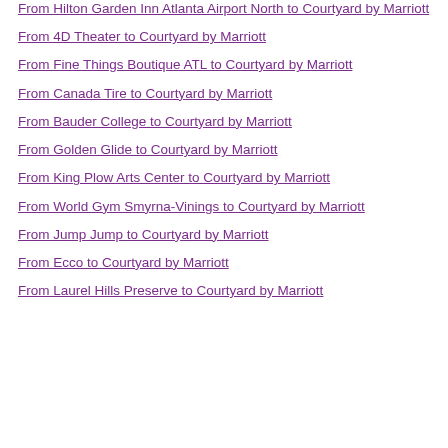From Hilton Garden Inn Atlanta Airport North to Courtyard by Marriott
From 4D Theater to Courtyard by Marriott
From Fine Things Boutique ATL to Courtyard by Marriott
From Canada Tire to Courtyard by Marriott
From Bauder College to Courtyard by Marriott
From Golden Glide to Courtyard by Marriott
From King Plow Arts Center to Courtyard by Marriott
From World Gym Smyrna-Vinings to Courtyard by Marriott
From Jump Jump to Courtyard by Marriott
From Ecco to Courtyard by Marriott
From Laurel Hills Preserve to Courtyard by Marriott